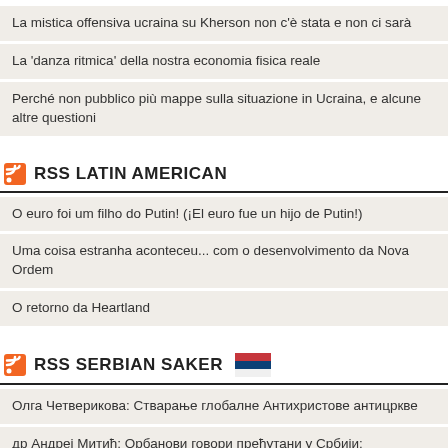La mistica offensiva ucraina su Kherson non c'è stata e non ci sarà
La 'danza ritmica' della nostra economia fisica reale
Perché non pubblico più mappe sulla situazione in Ucraina, e alcune altre questioni
RSS LATIN AMERICAN
O euro foi um filho do Putin! (¡El euro fue un hijo de Putin!)
Uma coisa estranha aconteceu... com o desenvolvimento da Nova Ordem
O retorno da Heartland
RSS SERBIAN SAKER
Олга Четверикова: Стварање глобалне Антихристове антицркве
др Андреј Митић: Орбанови говори прећутани у Србији: